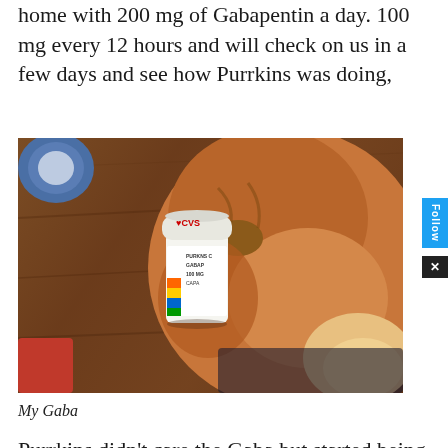home with 200 mg of Gabapentin a day. 100 mg every 12 hours and will check on us in a few days and see how Purrkins was doing,
[Figure (photo): Close-up photo of an orange tabby cat sniffing a white CVS pharmacy pill bottle labeled 'GABAPENTIN CAPSULES' on a wooden table, with a blue plate visible in the upper left and a red object in the lower left.]
My Gaba
Purrkins didn't care the Gaba but started being...